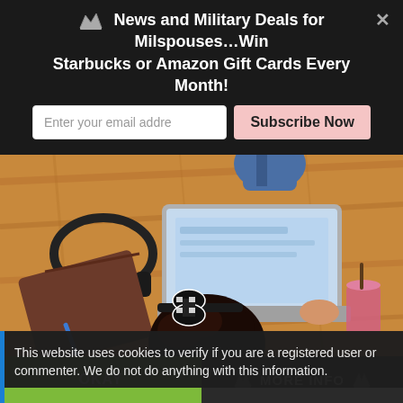News and Military Deals for Milspouses…Win Starbucks or Amazon Gift Cards Every Month!
[Figure (screenshot): Email subscription input box with placeholder 'Enter your email addre' and a pink 'Subscribe Now' button]
[Figure (photo): Overhead view of a person with dark curly hair and a black-and-white bow headband, lying on a wood floor working on a silver laptop, with a notebook, headphones, and a smoothie nearby]
This website uses cookies to verify if you are a registered user or commenter. We do not do anything with this information.
OKAY
MORE INFO